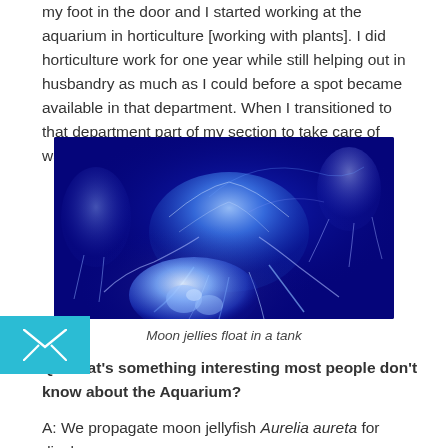my foot in the door and I started working at the aquarium in horticulture [working with plants]. I did horticulture work for one year while still helping out in husbandry as much as I could before a spot became available in that department. When I transitioned to that department part of my section to take care of was the jellyfish systems.
[Figure (photo): Blue-lit photograph of moon jellyfish floating in a dark tank, glowing bright blue against a deep blue background]
Moon jellies float in a tank
Q: What's something interesting most people don't know about the Aquarium?
A: We propagate moon jellyfish Aurelia aureta for display